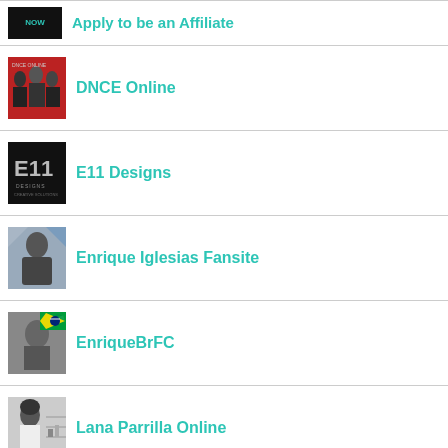Apply to be an Affiliate
DNCE Online
E11 Designs
Enrique Iglesias Fansite
EnriqueBrFC
Lana Parrilla Online